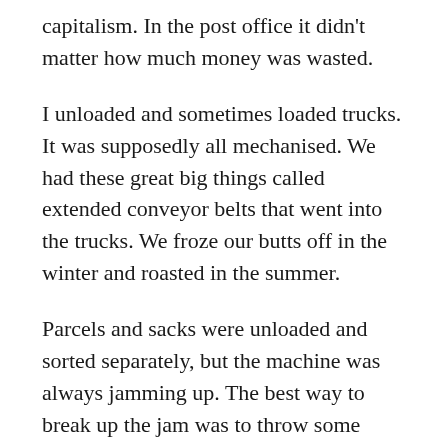capitalism. In the post office it didn't matter how much money was wasted.
I unloaded and sometimes loaded trucks. It was supposedly all mechanised. We had these great big things called extended conveyor belts that went into the trucks. We froze our butts off in the winter and roasted in the summer.
Parcels and sacks were unloaded and sorted separately, but the machine was always jamming up. The best way to break up the jam was to throw some sacks on the parcel system because they were heavier and would push the jam through. This of course meant that they'd be landing on the parcels and squashing them to bits. That was a kind of sabotage that was actually endorsed by management because they